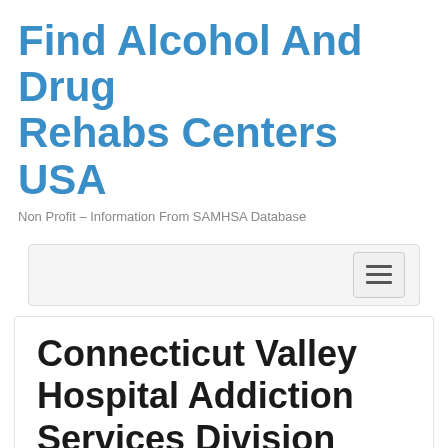Find Alcohol And Drug Rehabs Centers USA
Non Profit – Information From SAMHSA Database
[Figure (other): Navigation bar with hamburger menu button]
Connecticut Valley Hospital Addiction Services Division
Addiction Hotline 866-716-0142
Connecticut (CT)